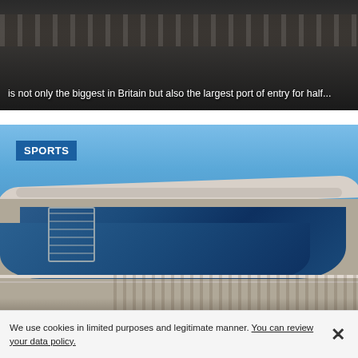[Figure (photo): Dark image of rail tracks or industrial setting with overlay text about a port in Britain]
is not only the biggest in Britain but also the largest port of entry for half...
[Figure (photo): Exterior photo of a modern sports stadium with blue glass facade, arched white structural beams, balcony with crowd of spectators, blue sky background. SPORTS badge overlay in top-left corner.]
We use cookies in limited purposes and legitimate manner. You can review your data policy.